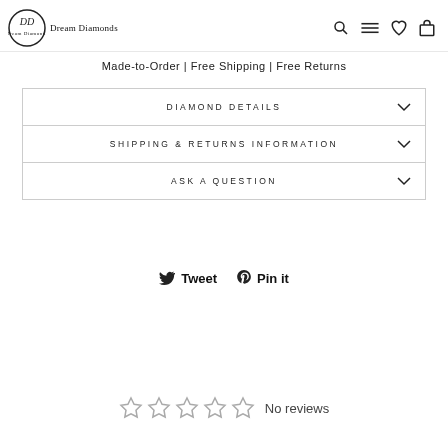Dream Diamonds
Made-to-Order | Free Shipping | Free Returns
DIAMOND DETAILS
SHIPPING & RETURNS INFORMATION
ASK A QUESTION
Tweet
Pin it
☆ ☆ ☆ ☆ ☆ No reviews